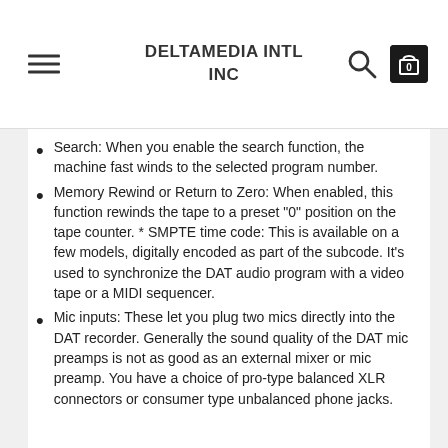DELTAMEDIA INTL INC
Search: When you enable the search function, the machine fast winds to the selected program number.
Memory Rewind or Return to Zero: When enabled, this function rewinds the tape to a preset "0" position on the tape counter. * SMPTE time code: This is available on a few models, digitally encoded as part of the subcode. It's used to synchronize the DAT audio program with a video tape or a MIDI sequencer.
Mic inputs: These let you plug two mics directly into the DAT recorder. Generally the sound quality of the DAT mic preamps is not as good as an external mixer or mic preamp. You have a choice of pro-type balanced XLR connectors or consumer type unbalanced phone jacks.